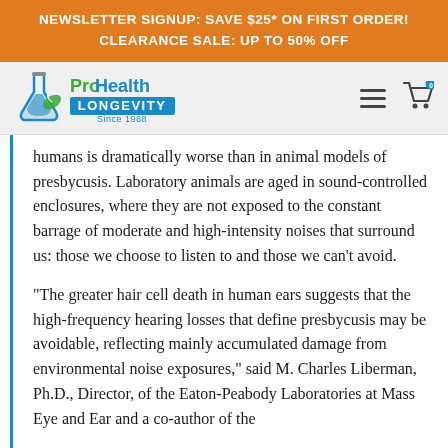NEWSLETTER SIGNUP: SAVE $25* ON FIRST ORDER!
CLEARANCE SALE: UP TO 50% OFF
[Figure (logo): ProHealth Longevity logo with test tube and leaf icon, 'Since 1988' tagline]
humans is dramatically worse than in animal models of presbycusis. Laboratory animals are aged in sound-controlled enclosures, where they are not exposed to the constant barrage of moderate and high-intensity noises that surround us: those we choose to listen to and those we can't avoid.
"The greater hair cell death in human ears suggests that the high-frequency hearing losses that define presbycusis may be avoidable, reflecting mainly accumulated damage from environmental noise exposures," said M. Charles Liberman, Ph.D., Director, of the Eaton-Peabody Laboratories at Mass Eye and Ear and a co-author of the